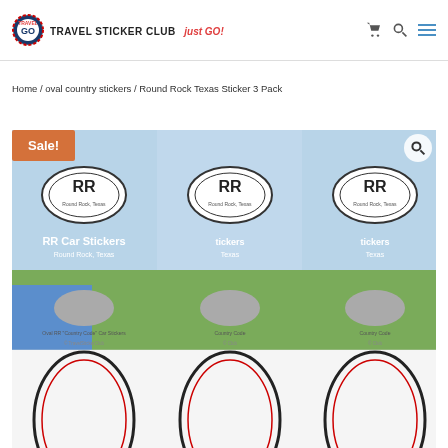TRAVEL STICKER CLUB just GO!
Home / oval country stickers / Round Rock Texas Sticker 3 Pack
[Figure (photo): Product photo showing three Round Rock Texas RR Car Sticker packs with Sale! badge overlay and magnify icon. Packaging shows oval RR sticker on landscape background. Bottom portion shows oval sticker outlines.]